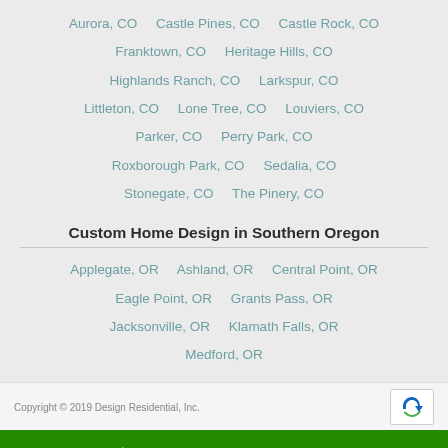Aurora, CO   Castle Pines, CO   Castle Rock, CO   Franktown, CO   Heritage Hills, CO   Highlands Ranch, CO   Larkspur, CO   Littleton, CO   Lone Tree, CO   Louviers, CO   Parker, CO   Perry Park, CO   Roxborough Park, CO   Sedalia, CO   Stonegate, CO   The Pinery, CO
Custom Home Design in Southern Oregon
Applegate, OR   Ashland, OR   Central Point, OR   Eagle Point, OR   Grants Pass, OR   Jacksonville, OR   Klamath Falls, OR   Medford, OR
Copyright © 2019 Design Residential, Inc.
Call 1-800-778-2456